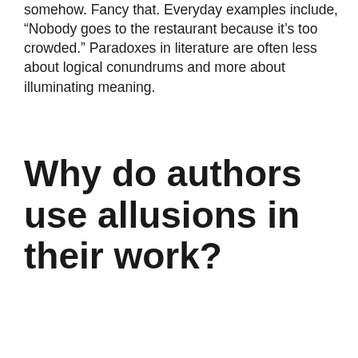somehow. Fancy that. Everyday examples include, “Nobody goes to the restaurant because it’s too crowded.” Paradoxes in literature are often less about logical conundrums and more about illuminating meaning.
Why do authors use allusions in their work?
An allusion is a literary device that stimulates ideas. An allusion is a literary device that stimulates ideas, associations, and extra information in the reader’s mind with only a word or two. Allusion means ‘reference’. Allusions in writing help the